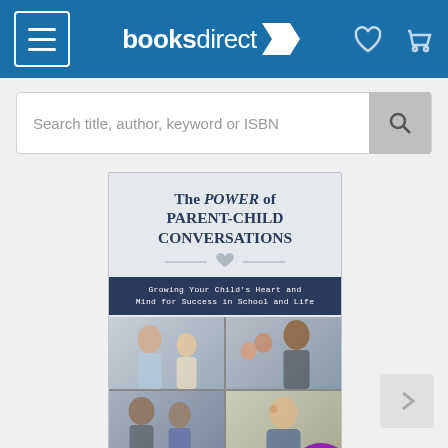booksdirect
Search title, author, keyword or ISBN
[Figure (illustration): Book cover for 'The Power of Parent-Child Conversations: Growing Your Child's Heart and Mind for Success in School and Life' by Jeff Zwiers, with a POD 4-6 weeks badge]
POD 4-6 WEEKS